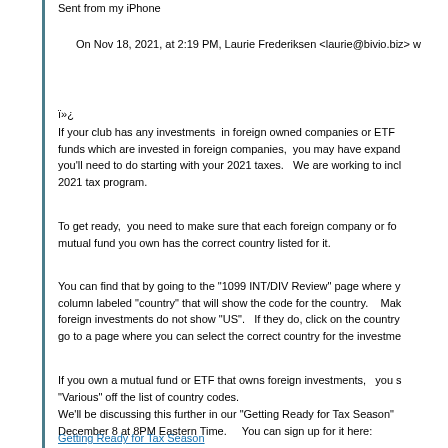Sent from my iPhone
On Nov 18, 2021, at 2:19 PM, Laurie Frederiksen <laurie@bivio.biz> w
ï»¿
If your club has any investments  in foreign owned companies or ETF funds which are invested in foreign companies,  you may have expanded you'll need to do starting with your 2021 taxes.  We are working to incl 2021 tax program.
To get ready,  you need to make sure that each foreign company or fo mutual fund you own has the correct country listed for it.
You can find that by going to the "1099 INT/DIV Review" page where y column labeled "country" that will show the code for the country.   Make foreign investments do not show "US".  If they do, click on the country go to a page where you can select the correct country for the investme
If you own a mutual fund or ETF that owns foreign investments,  you s "Various" off the list of country codes.
We'll be discussing this further in our "Getting Ready for Tax Season" December 8 at 8PM Eastern Time.   You can sign up for it here:
Getting Ready for Tax Season